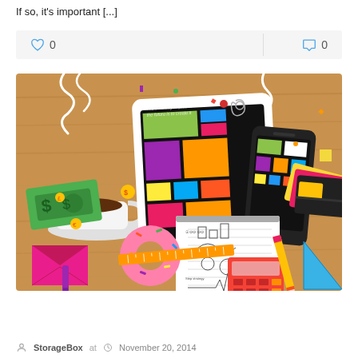If so, it's important [...]
[Figure (illustration): Flat design illustration of a desk scene with a tablet showing a colorful UI, a smartphone with matching UI, a coffee cup and saucer, a pink donut, banknotes and coins, a notepad with hand-drawn business doodles, a red calculator, a yellow pencil, a blue triangle ruler, an orange ruler, credit cards, a pink envelope, sticky notes, paperclips, and other office/tech items on a wooden desk surface.]
StorageBox at  November 20, 2014